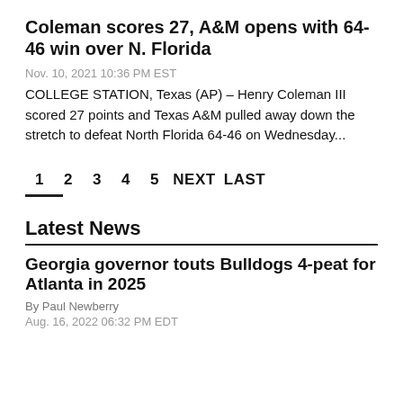Coleman scores 27, A&M opens with 64-46 win over N. Florida
Nov. 10, 2021 10:36 PM EST
COLLEGE STATION, Texas (AP) – Henry Coleman III scored 27 points and Texas A&M pulled away down the stretch to defeat North Florida 64-46 on Wednesday...
1  2  3  4  5  NEXT  LAST
Latest News
Georgia governor touts Bulldogs 4-peat for Atlanta in 2025
By Paul Newberry
Aug. 16, 2022 06:32 PM EDT